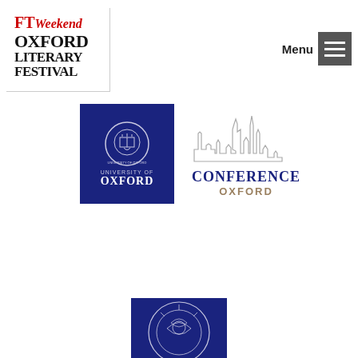[Figure (logo): FT Weekend Oxford Literary Festival logo in top left: 'FT' in red, 'Weekend' in red italic, 'OXFORD LITERARY FESTIVAL' in bold black serif text below]
[Figure (logo): Menu button with hamburger icon (three horizontal lines on dark gray/black square background) in top right]
[Figure (logo): University of Oxford logo: dark navy blue square with circular University of Oxford crest/seal and text 'UNIVERSITY OF OXFORD']
[Figure (logo): Conference Oxford logo: outline drawing of Oxford skyline with spires, text 'CONFERENCE OXFORD' below in navy and tan/gold]
[Figure (logo): Partial logo at bottom center: dark navy blue square with circular emblem/crest outline visible, partially cut off]